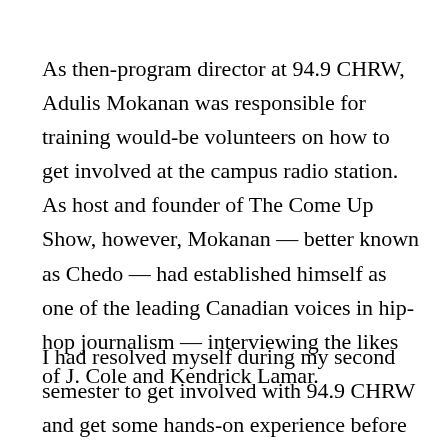As then-program director at 94.9 CHRW, Adulis Mokanan was responsible for training would-be volunteers on how to get involved at the campus radio station. As host and founder of The Come Up Show, however, Mokanan — better known as Chedo — had established himself as one of the leading Canadian voices in hip-hop journalism — interviewing the likes of J. Cole and Kendrick Lamar.
I had resolved myself during my second semester to get involved with 94.9 CHRW and get some hands-on experience before the rest